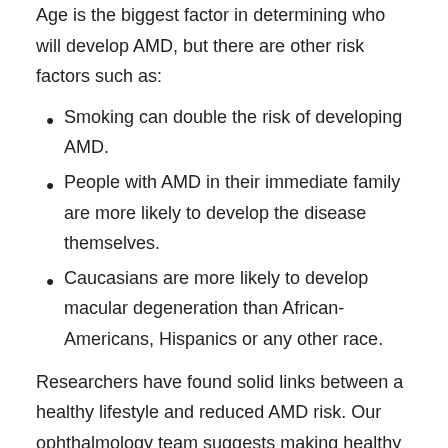Age is the biggest factor in determining who will develop AMD, but there are other risk factors such as:
Smoking can double the risk of developing AMD.
People with AMD in their immediate family are more likely to develop the disease themselves.
Caucasians are more likely to develop macular degeneration than African-Americans, Hispanics or any other race.
Researchers have found solid links between a healthy lifestyle and reduced AMD risk. Our ophthalmology team suggests making healthy changes to your life, including quitting smoking, maintaining normal cholesterol levels and blood pressure, exercising regularly, and eating a healthy diet that includes fish and leafy, green vegetables.